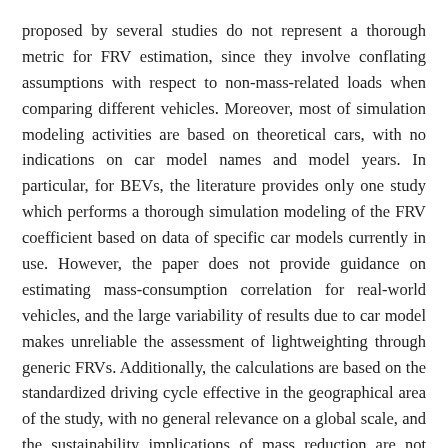proposed by several studies do not represent a thorough metric for FRV estimation, since they involve conflating assumptions with respect to non-mass-related loads when comparing different vehicles. Moreover, most of simulation modeling activities are based on theoretical cars, with no indications on car model names and model years. In particular, for BEVs, the literature provides only one study which performs a thorough simulation modeling of the FRV coefficient based on data of specific car models currently in use. However, the paper does not provide guidance on estimating mass-consumption correlation for real-world vehicles, and the large variability of results due to car model makes unreliable the assessment of lightweighting through generic FRVs. Additionally, the calculations are based on the standardized driving cycle effective in the geographical area of the study, with no general relevance on a global scale, and the sustainability implications of mass reduction are not taken into account.This study presents an analytical calculation